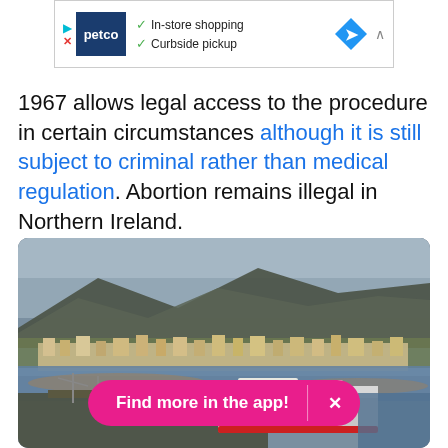[Figure (screenshot): Ad banner for Petco showing logo, In-store shopping and Curbside pickup checkmarks, a blue diamond arrow icon, and an up chevron.]
1967 allows legal access to the procedure in certain circumstances although it is still subject to criminal rather than medical regulation. Abortion remains illegal in Northern Ireland.
[Figure (photo): Aerial photograph of a coastal town (Northern Ireland) with mountains in the background, a harbor with a ferry/ship docked, and water in the foreground.]
[Figure (screenshot): Pink app promotion button reading 'Find more in the app!' with an X close button, overlaid on the photo.]